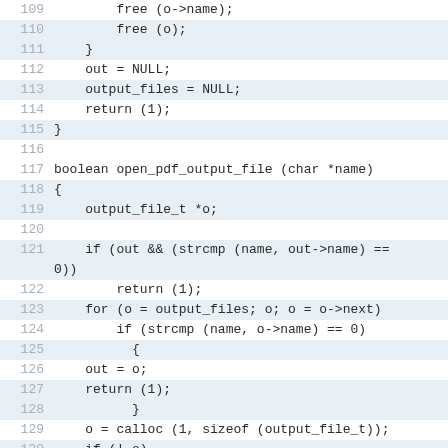Code listing lines 109-130, C source code for PDF output file handling
[Figure (other): Source code listing showing C code lines 109-130 for open_pdf_output_file function with alternating highlighted rows]